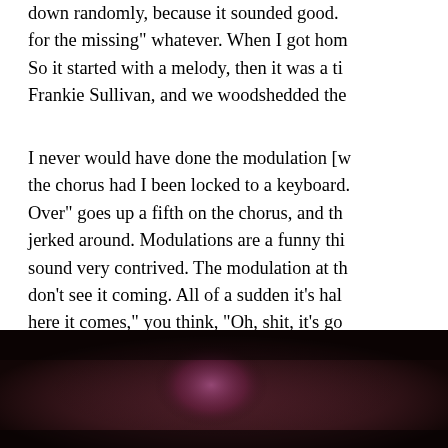down randomly, because it sounded good. for the missing" whatever. When I got hom. So it started with a melody, then it was a ti. Frankie Sullivan, and we woodshedded the
I never would have done the modulation [w the chorus had I been locked to a keyboard. Over" goes up a fifth on the chorus, and th jerked around. Modulations are a funny thi sound very contrived. The modulation at th don't see it coming. All of a sudden it's hal here it comes," you think, "Oh, shit, it's go like. With "The Search Is Over," you never
[Figure (photo): Dark photograph showing a person with what appears to be pink/purple hair or clothing, in a dimly lit setting]